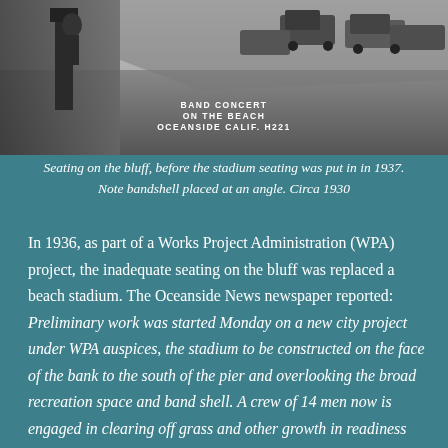[Figure (photo): Black and white photograph of a beach scene with text overlay reading 'BAND CONCERT ON THE BEACH OCEANSIDE CALIF. H221'. Shows bluff seating area with old cars parked on the right side, circa 1930.]
Seating on the bluff, before the stadium seating was put in in 1937. Note bandshell placed at an angle. Circa 1930
In 1936, as part of a Works Project Administration (WPA) project, the inadequate seating on the bluff was replaced a beach stadium. The Oceanside News newspaper reported: Preliminary work was started Monday on a new city project under WPA auspices, the stadium to be constructed on the face of the bank to the south of the pier and overlooking the broad recreation space and band shell. A crew of 14 men now is engaged in clearing off grass and other growth in readiness for construction of a rubble wall, the first stage of the